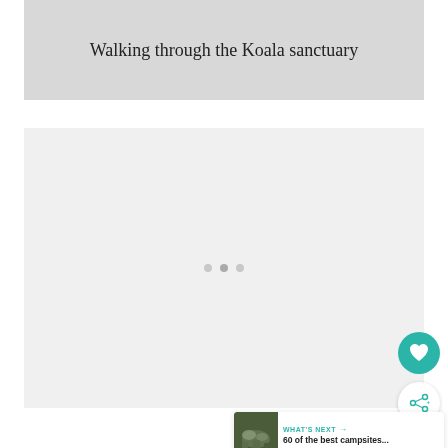Walking through the Koala sanctuary
[Figure (photo): Large light grey placeholder image block representing a photo of walking through the Koala sanctuary]
[Figure (illustration): Heart icon button (teal circular button) for favoriting]
[Figure (illustration): Share icon button (white circular button with shadow) for sharing]
WHAT'S NEXT → 60 of the best campsites...